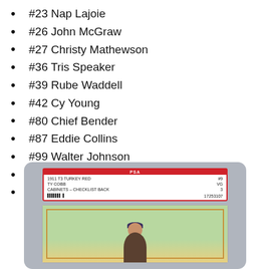#23 Nap Lajoie
#26 John McGraw
#27 Christy Mathewson
#36 Tris Speaker
#39 Rube Waddell
#42 Cy Young
#80 Chief Bender
#87 Eddie Collins
#99 Walter Johnson
#101 Wee Willie Keeler
#125 Ed Walsh
[Figure (photo): PSA graded 1911 T3 Turkey Red card #9 Ty Cobb, VG grade 3, Cabinets - Checklist Back, serial 17253107, shown in plastic slab holder with red PSA label. Card shows a baseball player figure on green and yellow background with decorative border.]